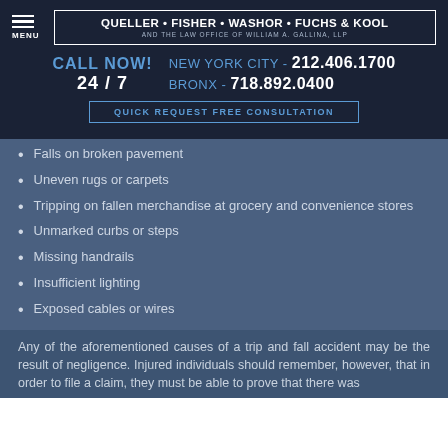QUELLER • FISHER • WASHOR • FUCHS & KOOL AND THE LAW OFFICE OF WILLIAM A. GALLINA, LLP
CALL NOW! NEW YORK CITY - 212.406.1700 24 / 7 BRONX - 718.892.0400
QUICK REQUEST FREE CONSULTATION
Falls on broken pavement
Uneven rugs or carpets
Tripping on fallen merchandise at grocery and convenience stores
Unmarked curbs or steps
Missing handrails
Insufficient lighting
Exposed cables or wires
Any of the aforementioned causes of a trip and fall accident may be the result of negligence. Injured individuals should remember, however, that in order to file a claim, they must be able to prove that there was